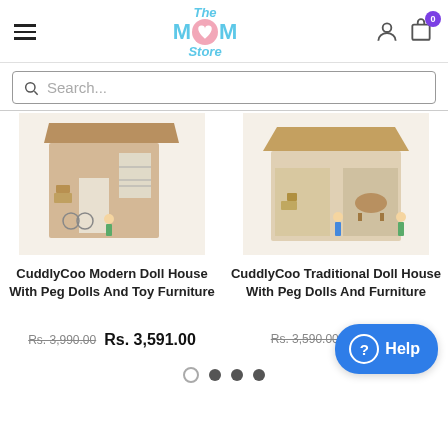The Mom Store - navigation header with hamburger menu, logo, user icon, cart icon with badge 0
Search...
[Figure (photo): CuddlyCoo Modern Doll House with miniature furniture and peg dolls, wooden construction]
[Figure (photo): CuddlyCoo Traditional Doll House with miniature furniture and peg dolls, wooden construction]
CuddlyCoo Modern Doll House With Peg Dolls And Toy Furniture
CuddlyCoo Traditional Doll House With Peg Dolls And Furniture
Rs. 3,990.00  Rs. 3,591.00
Rs. 3,590.00  Rs. 3,231.00
Help button overlay
Pagination dots: 1 empty, 3 filled